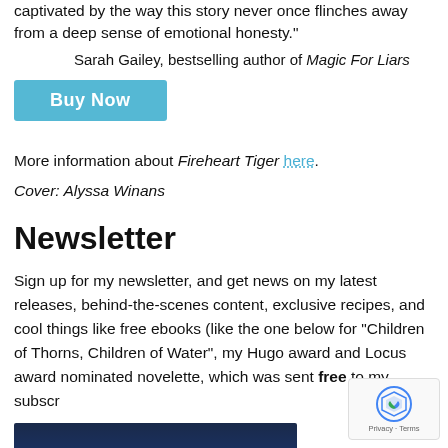captivated by the way this story never once flinches away from a deep sense of emotional honesty."
Sarah Gailey, bestselling author of Magic For Liars
Buy Now
More information about Fireheart Tiger here.
Cover: Alyssa Winans
Newsletter
Sign up for my newsletter, and get news on my latest releases, behind-the-scenes content, exclusive recipes, and cool things like free ebooks (like the one below for "Children of Thorns, Children of Water", my Hugo award and Locus award nominated novelette, which was sent free to my subscr
[Figure (photo): Book cover image showing 'Children' text at the bottom in golden letters on a dark blue background]